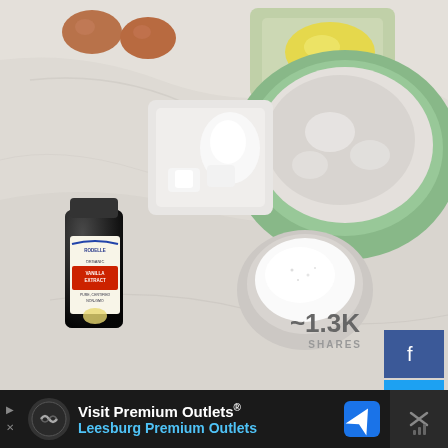[Figure (photo): Overhead flat-lay photo of baking ingredients on a marble surface: two brown eggs, a bowl of melted butter, a large mint-green bowl of flour, a rectangular dish with baking powder and salt, a bottle of organic vanilla extract, a round bowl of granulated sugar, a plate with two sticks of butter, and a bowl of powdered sugar. Social share buttons (Facebook, Twitter, Pinterest, heart/like) are overlaid on the right side with ~1.3K shares count.]
~1.3K
SHARES
[Figure (infographic): Advertisement bar at the bottom: 'Visit Premium Outlets® / Leesburg Premium Outlets' with brand logo, map pin icon, and close button]
Visit Premium Outlets®
Leesburg Premium Outlets